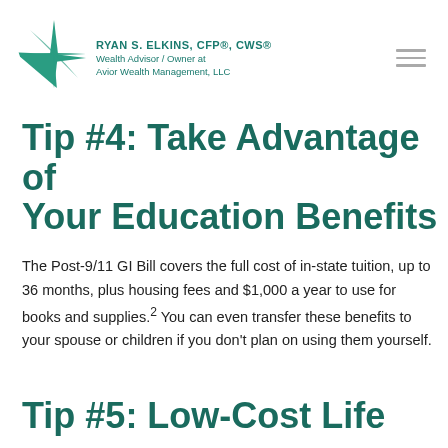[Figure (logo): Avior Wealth Management star/compass logo with Ryan S. Elkins CFP CWS branding]
Tip #4: Take Advantage of Your Education Benefits
The Post-9/11 GI Bill covers the full cost of in-state tuition, up to 36 months, plus housing fees and $1,000 a year to use for books and supplies.² You can even transfer these benefits to your spouse or children if you don't plan on using them yourself.
Tip #5: Low-Cost Life